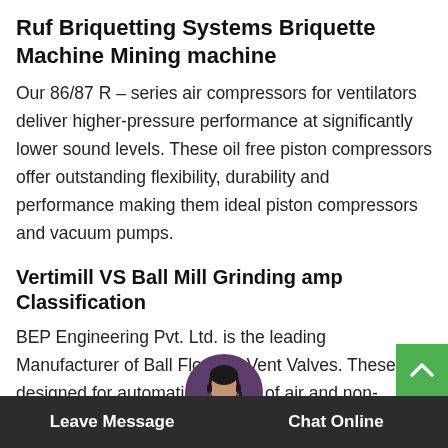Ruf Briquetting Systems Briquette Machine Mining machine
Our 86/87 R – series air compressors for ventilators deliver higher-pressure performance at significantly lower sound levels. These oil free piston compressors offer outstanding flexibility, durability and performance making them ideal piston compressors and vacuum pumps.
Vertimill VS Ball Mill Grinding amp Classification
BEP Engineering Pvt. Ltd. is the leading Manufacturer of Ball Float Air Vent Valves. These are designed for automatic removal of air and non-condensable gases from liquid lines. Our Air Vent Valves are suitable for venting of Water / Oil pip… process equipment and storage tanks. The gas c… ted in the upper part of the valve installed …
Leave Message   Chat Online